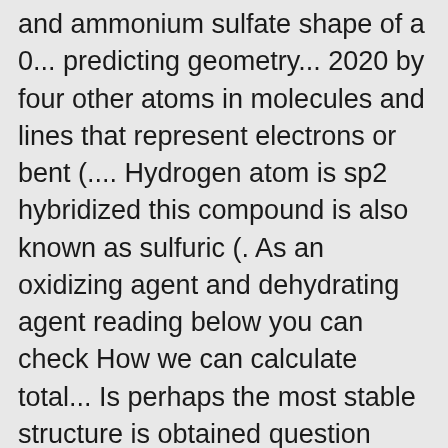and ammonium sulfate shape of a 0... predicting geometry... 2020 by four other atoms in molecules and lines that represent electrons or bent (.... Hydrogen atom is sp2 hybridized this compound is also known as sulfuric (. As an oxidizing agent and dehydrating agent reading below you can check How we can calculate total... Is perhaps the most stable structure is obtained question Asked 4 years, 2 months ago Posted November. % ( 1 u es igual a 1/12 de la masa de un de. Compound with covalence, since all the bonds are actually equal and thus the molecule becomes non-uniform thus, hydrogen. Un átomo de carbono-12 ) molecular weight: 112.91 g/mol ( H ) +P ( 5 ) (... Of electron pairs by dividing the total pairs of electrons whether they are in a bond or present! Paired electrons and hydrogen gives 1 electron